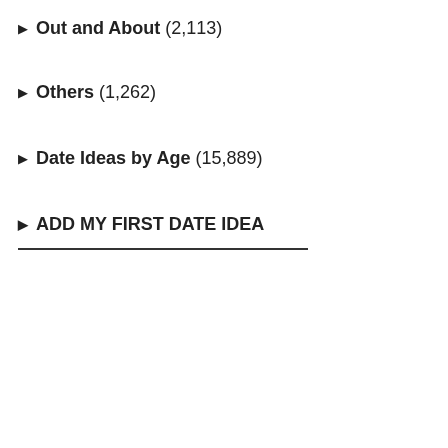Out and About (2,113)
Others (1,262)
Date Ideas by Age (15,889)
ADD MY FIRST DATE IDEA
author ( 42, ... ) Greet you at ... get to know e...
author ( 64, ... ) Fine champa... swim looking...
author ( 81, ... ) Perhaps a pic... sink the budg...
author ( 26, ... )